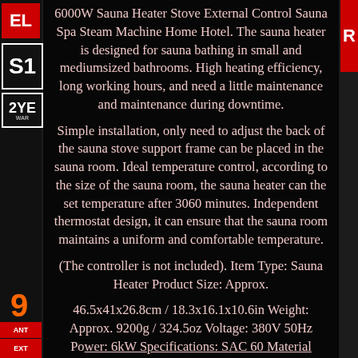6000W Sauna Heater Stove External Control Sauna Spa Steam Machine Home Hotel. The sauna heater is designed for sauna bathing in small and mediumsized bathrooms. High heating efficiency, long working hours, and need a little maintenance and maintenance during downtime.
Simple installation, only need to adjust the back of the sauna stove support frame can be placed in the sauna room. Ideal temperature control, according to the size of the sauna room, the sauna heater can the set temperature after 3060 minutes. Independent thermostat design, it can ensure that the sauna room maintains a uniform and comfortable temperature.
(The controller is not included). Item Type: Sauna Heater Product Size: Approx.
46.5x41x26.8cm / 18.3x16.1x10.6in Weight: Approx. 9200g / 324.5oz Voltage: 380V 50Hz Power: 6kW Specifications: SAC 60 Material